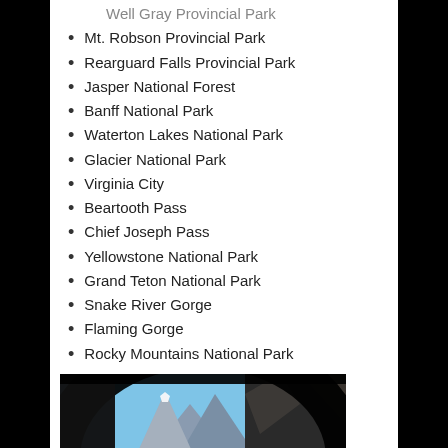Well Gray Provincial Park (partial)
Mt. Robson Provincial Park
Rearguard Falls Provincial Park
Jasper National Forest
Banff National Park
Waterton Lakes National Park
Glacier National Park
Virginia City
Beartooth Pass
Chief Joseph Pass
Yellowstone National Park
Grand Teton National Park
Snake River Gorge
Flaming Gorge
Rocky Mountains National Park
[Figure (photo): View from inside a tunnel looking out at a mountain road with a vehicle ahead, rocky cliffs on the right, and a prominent mountain peak in the background under a blue sky.]